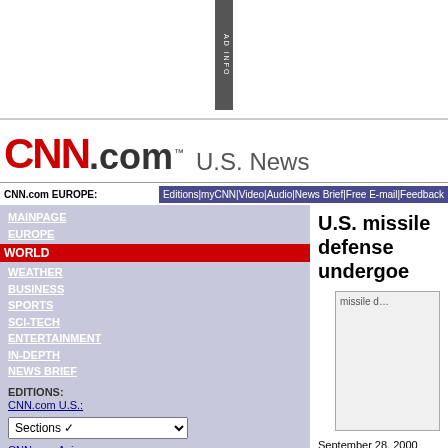[Figure (other): Ad info vertical bar in gray]
CNN.com U.S. News
CNN.com EUROPE: | Editions | myCNN | Video | Audio | News Brief | Free E-mail | Feedback
U.S. missile defense undergoe
September 28, 2000
Web posted at: 8:15 p.m. EDT (0015 GMT)
From staff and wire reports
[Figure (photo): missile defense system photo placeholder]
WASHINGTON (CNN) -- The Pentagon conducted two more tests of the National Missile Defense system over the Pacific Ocean early Thursday.
One of the tests involved the system's ability to tell warheads from decoys, but neither included the interception of incoming missiles.
MAINPAGE
EUROPE
WORLD
WEATHER
BUSINESS
SPORTS
SCI-TECH
ENTERTAINMENT
IN-DEPTH
NEWS BRIEF
EDITIONS:
CNN.com U.S.:
Sections
CNN.com Asia
set default edition
LOCAL LANGUAGES:
German
Italian
Swedish
Norwegian
Danish
Spanish